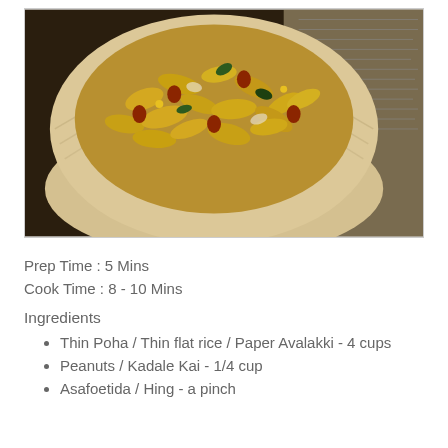[Figure (photo): A bowl of thin poha (paper avalakki) mixed with peanuts, spices, curry leaves and onions served in a leaf bowl, placed on newspaper background.]
Prep Time : 5 Mins
Cook Time : 8 - 10 Mins
Ingredients
Thin Poha / Thin flat rice / Paper Avalakki - 4 cups
Peanuts / Kadale Kai - 1/4 cup
Asafoetida / Hing - a pinch